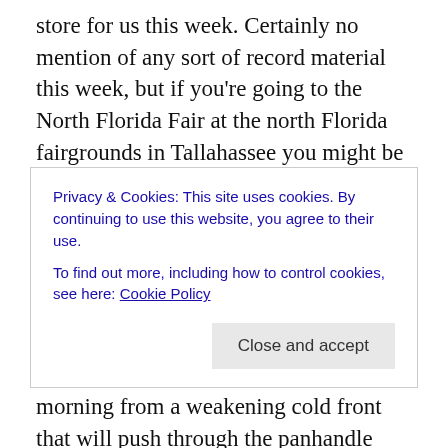store for us this week. Certainly no mention of any sort of record material this week, but if you're going to the North Florida Fair at the north Florida fairgrounds in Tallahassee you might be able to set a few personal records for rides and games before the fair wraps up on November 12th. There is no threat of rain for the rest of the fair, and weather across Florida will be normal for this time of year. In fact, the only threat of rain this week will come Tuesday morning from a weakening cold front that will push through the panhandle while you sleep. The front will fall apart across south Florida late in the day on Wednesday with
Privacy & Cookies: This site uses cookies. By continuing to use this website, you agree to their use.
To find out more, including how to control cookies, see here: Cookie Policy
Close and accept
across south Florida late in the day on Wednesday with